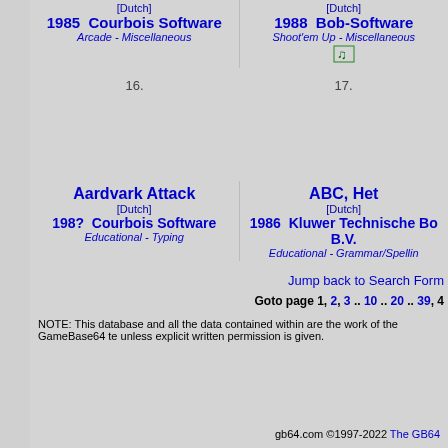[Dutch]
1985 Courbois Software
Arcade - Miscellaneous
[Dutch]
1988 Bob-Software
Shoot'em Up - Miscellaneous
16.
17.
Aardvark Attack
[Dutch]
198? Courbois Software
Educational - Typing
ABC, Het
[Dutch]
1986 Kluwer Technische Bo B.V.
Educational - Grammar/Spelling
Jump back to Search Form
Goto page 1, 2, 3 .. 10 .. 20 .. 39, 4
NOTE: This database and all the data contained within are the work of the GameBase64 te unless explicit written permission is given.
gb64.com ©1997-2022 The GB64